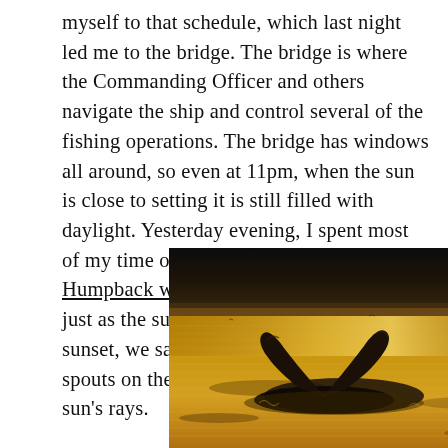myself to that schedule, which last night led me to the bridge. The bridge is where the Commanding Officer and others navigate the ship and control several of the fishing operations. The bridge has windows all around, so even at 11pm, when the sun is close to setting it is still filled with daylight. Yesterday evening, I spent most of my time on the bridge watching Humpback whales with binoculars. Then, just as the sun was presenting a spectacular sunset, we saw multiple whale flukes and spouts on the horizon in the glow of the sun's rays.
[Figure (photo): A humpback whale fluke rising above golden sunlit ocean water, photographed at sunset with dark sky in the background.]